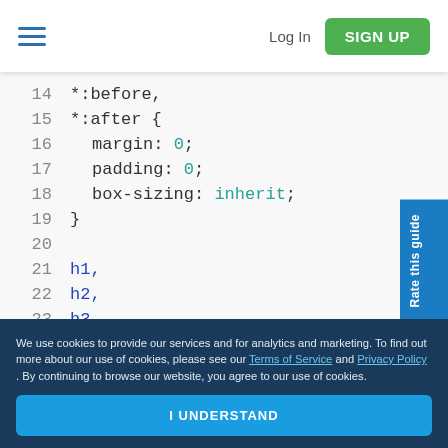Log In | SIGN UP
[Figure (screenshot): Code editor screenshot showing CSS lines 14-24: *:before, *:after { margin: 0; padding: 0; box-sizing: inherit; } followed by h1, h2, h3, h4,]
Rate this guide
We use cookies to provide our services and for analytics and marketing. To find out more about our use of cookies, please see our Terms of Service and Privacy Policy. By continuing to browse our website, you agree to our use of cookies.
I UNDERSTAND